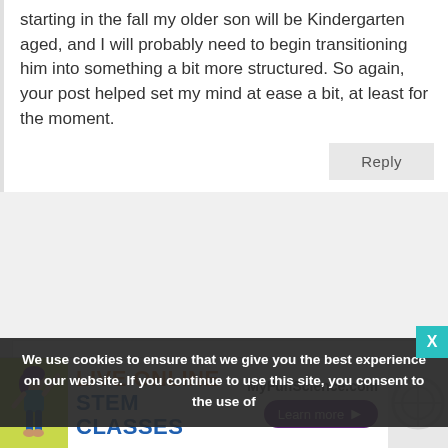starting in the fall my older son will be Kindergarten aged, and I will probably need to begin transitioning him into something a bit more structured. So again, your post helped set my mind at ease a bit, at least for the moment.
Reply
Hillary
January 11, 2013 at 3:57 pm
We use cookies to ensure that we give you the best experience on our website. If you continue to use this site, you consent to the use of
[Figure (illustration): Advertisement banner for MyFunScience.com showing Live Online STEM Classes with a cartoon girl illustration and Learn more button]